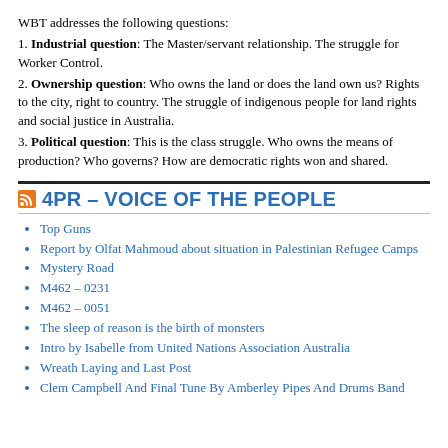WBT addresses the following questions:
1. Industrial question: The Master/servant relationship. The struggle for Worker Control.
2. Ownership question: Who owns the land or does the land own us? Rights to the city, right to country. The struggle of indigenous people for land rights and social justice in Australia.
3. Political question: This is the class struggle. Who owns the means of production? Who governs? How are democratic rights won and shared.
4PR – VOICE OF THE PEOPLE
Top Guns
Report by Olfat Mahmoud about situation in Palestinian Refugee Camps
Mystery Road
M462 – 0231
M462 – 0051
The sleep of reason is the birth of monsters
Intro by Isabelle from United Nations Association Australia
Wreath Laying and Last Post
Clem Campbell And Final Tune By Amberley Pipes And Drums Band